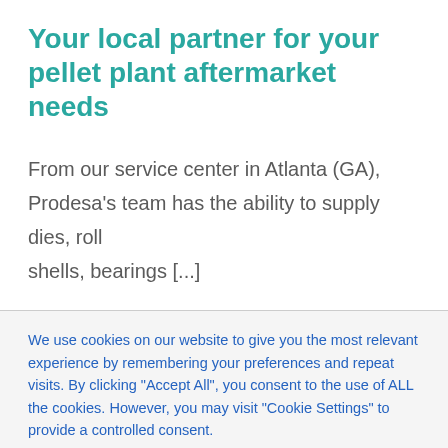Your local partner for your pellet plant aftermarket needs
From our service center in Atlanta (GA), Prodesa's team has the ability to supply dies, roll shells, bearings [...]
We use cookies on our website to give you the most relevant experience by remembering your preferences and repeat visits. By clicking "Accept All", you consent to the use of ALL the cookies. However, you may visit "Cookie Settings" to provide a controlled consent.